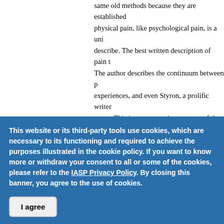same old methods because they are established physical pain, like psychological pain, is a uni describe. The best written description of pain t The author describes the continuum between p experiences, and even Styron, a prolific writer worst. This is a very moving account of the pa our PRF readers!
Valérie Bourassa, PhD candidate, McGill Uni
All Aboard! The Pain Education Train Is L
This website or its third-party tools use cookies, which are necessary to its functioning and required to achieve the purposes illustrated in the cookie policy. If you want to know more or withdraw your consent to all or some of the cookies, please refer to the IASP Privacy Policy. By closing this banner, you agree to the use of cookies.
I agree